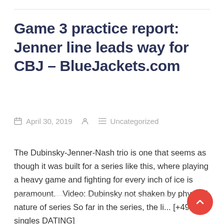Game 3 practice report: Jenner line leads way for CBJ – BlueJackets.com
April 30, 2019   Uncategorized
The Dubinsky-Jenner-Nash trio is one that seems as though it was built for a series like this, where playing a heavy game and fighting for every inch of ice is paramount.   Video: Dubinsky not shaken by physical nature of series So far in the series, the li... [+4909 singles DATING]